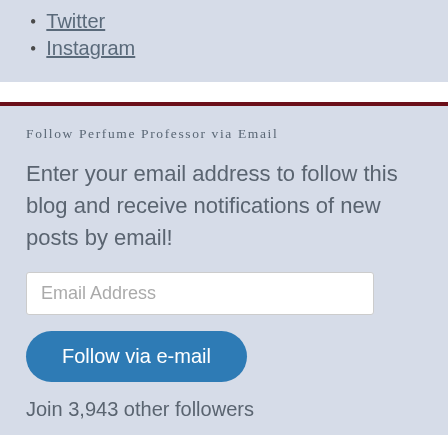Twitter
Instagram
Follow Perfume Professor via Email
Enter your email address to follow this blog and receive notifications of new posts by email!
Email Address
Follow via e-mail
Join 3,943 other followers